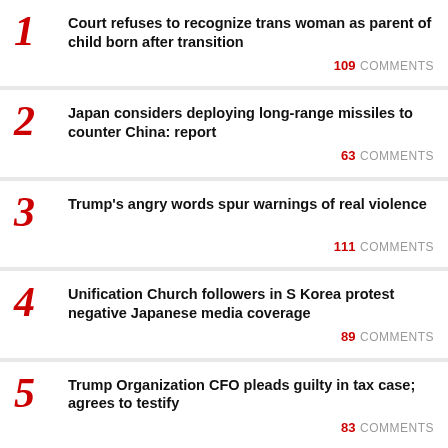1. Court refuses to recognize trans woman as parent of child born after transition — 109 COMMENTS
2. Japan considers deploying long-range missiles to counter China: report — 63 COMMENTS
3. Trump's angry words spur warnings of real violence — 111 COMMENTS
4. Unification Church followers in S Korea protest negative Japanese media coverage — 89 COMMENTS
5. Trump Organization CFO pleads guilty in tax case; agrees to testify — 83 COMMENTS